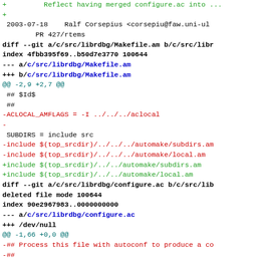diff --git source code patch showing changes to librdbg Makefile.am and configure.ac files
+ Reflect having merged configure.ac into ...
+
 2003-07-18  Ralf Corsepius <corsepiu@faw.uni-ul

         PR 427/rtems

diff --git a/c/src/librdbg/Makefile.am b/c/src/libr
index 4fbb395f69..b50d7e3770 100644
--- a/c/src/librdbg/Makefile.am
+++ b/c/src/librdbg/Makefile.am
@@ -2,9 +2,7 @@
 ## $Id$
 ##

-ACLOCAL_AMFLAGS = -I ../../../aclocal
-
 SUBDIRS = include src

-include $(top_srcdir)/../../../automake/subdirs.am
-include $(top_srcdir)/../../../automake/local.am
+include $(top_srcdir)/../../automake/subdirs.am
+include $(top_srcdir)/../../automake/local.am

diff --git a/c/src/librdbg/configure.ac b/c/src/lib
deleted file mode 100644
index 90e2967983..0000000000
--- a/c/src/librdbg/configure.ac
+++ /dev/null
@@ -1,66 +0,0 @@
-## Process this file with autoconf to produce a co
-##